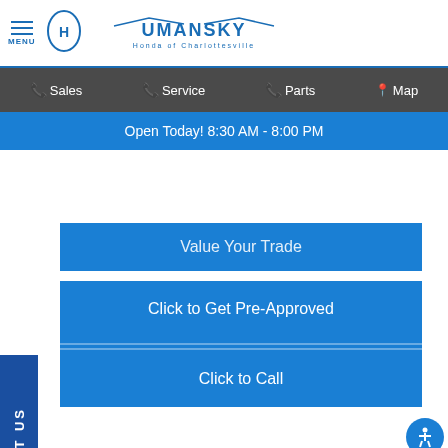[Figure (logo): Umansky Honda of Charlottesville dealership website header with Honda logo, menu icon, and Umansky logo]
Sales | Service | Parts | Map
Open Today! 8:30 AM - 8:00 PM
Value Your Trade
Click to Get Pre-Approved
Click to Call
TEXT US